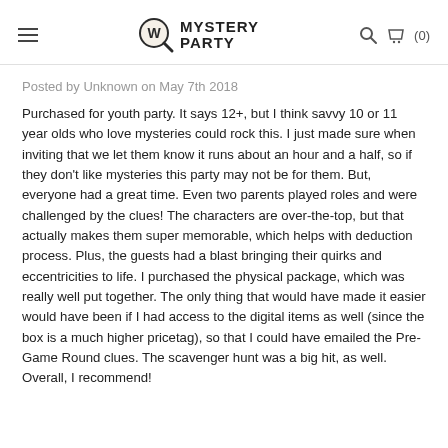Mystery Party
Posted by Unknown on May 7th 2018
Purchased for youth party. It says 12+, but I think savvy 10 or 11 year olds who love mysteries could rock this. I just made sure when inviting that we let them know it runs about an hour and a half, so if they don't like mysteries this party may not be for them. But, everyone had a great time. Even two parents played roles and were challenged by the clues! The characters are over-the-top, but that actually makes them super memorable, which helps with deduction process. Plus, the guests had a blast bringing their quirks and eccentricities to life. I purchased the physical package, which was really well put together. The only thing that would have made it easier would have been if I had access to the digital items as well (since the box is a much higher pricetag), so that I could have emailed the Pre-Game Round clues. The scavenger hunt was a big hit, as well. Overall, I recommend!